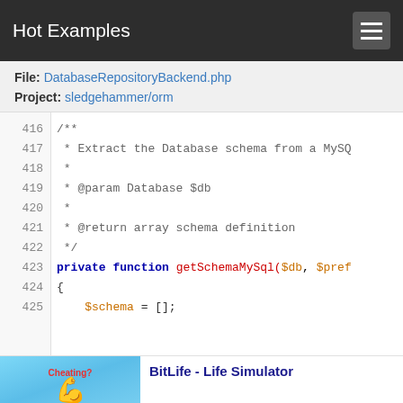Hot Examples
File: DatabaseRepositoryBackend.php
Project: sledgehammer/orm
416   /**
417    * Extract the Database schema from a MySQL
418    *
419    * @param Database $db
420    *
421    * @return array schema definition
422    */
423   private function getSchemaMySql($db, $pref
424   {
425       $schema = [];
[Figure (screenshot): BitLife - Life Simulator advertisement image with flexing arm emoji]
BitLife - Life Simulator
Ad